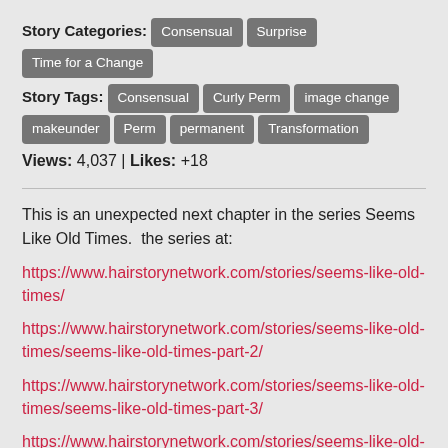Story Categories: Consensual  Surprise  Time for a Change
Story Tags: Consensual  Curly Perm  image change  makeunder  Perm  permanent  Transformation
Views: 4,037 | Likes: +18
This is an unexpected next chapter in the series Seems Like Old Times.  the series at:
https://www.hairstorynetwork.com/stories/seems-like-old-times/
https://www.hairstorynetwork.com/stories/seems-like-old-times/seems-like-old-times-part-2/
https://www.hairstorynetwork.com/stories/seems-like-old-times/seems-like-old-times-part-3/
https://www.hairstorynetwork.com/stories/seems-like-old-times/